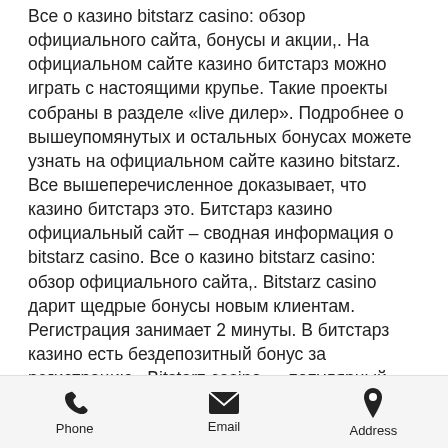Все о казино bitstarz casino: обзор официального сайта, бонусы и акции,. На официальном сайте казино битстарз можно играть с настоящими крупье. Такие проекты собраны в разделе «live дилер». Подробнее о вышеупомянутых и остальных бонусах можете узнать на официальном сайте казино bitstarz. Все вышеперечисленное доказывает, что казино битстарз это. Битстарз казино официальный сайт – сводная информация о bitstarz casino. Все о казино bitstarz casino: обзор официального сайта,. Bitstarz casino дарит щедрые бонусы новым клиентам. Регистрация занимает 2 минуты. В битстарз казино есть бездепозитный бонус за регистрацию,. Bitstarz casino — популярный игорный ресурс с отменными
Phone  Email  Address